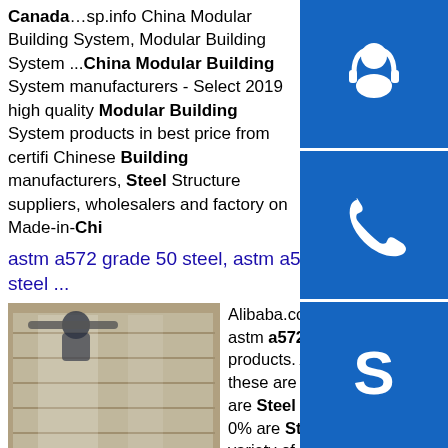Canada…sp.info China Modular Building System, Modular Building System ...China Modular Building System manufacturers - Select 2019 high quality Modular Building System products in best price from certified Chinese Building manufacturers, Steel Structure suppliers, wholesalers and factory on Made-in-Chi…
[Figure (illustration): Blue customer support icon (headset with person silhouette)]
[Figure (illustration): Blue phone/call icon]
[Figure (illustration): Blue Skype icon]
astm a572 grade 50 steel, astm a572 grade 50 steel ...
[Figure (photo): Photo of stacked steel sheets wrapped in plastic packaging]
Alibaba.com offers 1, astm a572 grade 50 steel products. About 59% these are Steel Sheets, 10% are Steel Round Bars, and 0% are Steel Rebars. A wide variety of astm a572 grade 50 steel options are available to you, such as technique, application, and standard.sp.info Astm Structural Steel Sizes, Astm Structural Steel Sizes ...About 14% of these